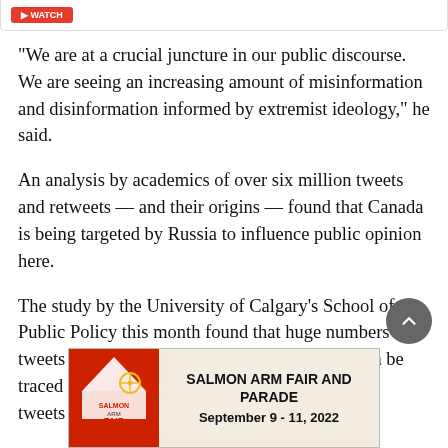[Figure (other): Top bar with red button partially visible at top of page]
“We are at a crucial juncture in our public discourse. We are seeing an increasing amount of misinformation and disinformation informed by extremist ideology,” he said.
An analysis by academics of over six million tweets and retweets — and their origins — found that Canada is being targeted by Russia to influence public opinion here.
The study by the University of Calgary’s School of Public Policy this month found that huge numbers of tweets and retweets about the war in Ukraine can be traced back to Russia and China, with even more tweets expressing…
[Figure (illustration): Salmon Arm Fair and Parade advertisement banner. Text: SALMON ARM FAIR AND PARADE, September 9 - 11, 2022. Includes Salmon Arm Fair logo with tent/carnival graphics.]